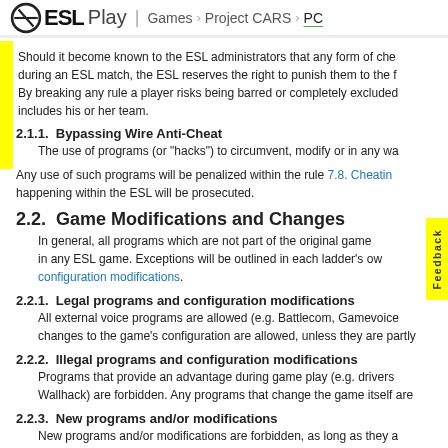ESL Play | Games > Project CARS > PC
Should it become known to the ESL administrators that any form of che during an ESL match, the ESL reserves the right to punish them to the f By breaking any rule a player risks being barred or completely excluded includes his or her team.
2.1.1.  Bypassing Wire Anti-Cheat
The use of programs (or "hacks") to circumvent, modify or in any wa
Any use of such programs will be penalized within the rule 7.8. Cheatin happening within the ESL will be prosecuted.
2.2.  Game Modifications and Changes
In general, all programs which are not part of the original game in any ESL game. Exceptions will be outlined in each ladder's ow configuration modifications.
2.2.1.  Legal programs and configuration modifications
All external voice programs are allowed (e.g. Battlecom, Gamevoice changes to the game's configuration are allowed, unless they are partly
2.2.2.  Illegal programs and configuration modifications
Programs that provide an advantage during game play (e.g. drivers Wallhack) are forbidden. Any programs that change the game itself are
2.2.3.  New programs and/or modifications
New programs and/or modifications are forbidden, as long as they a
2.2.4.  Compulsory programs